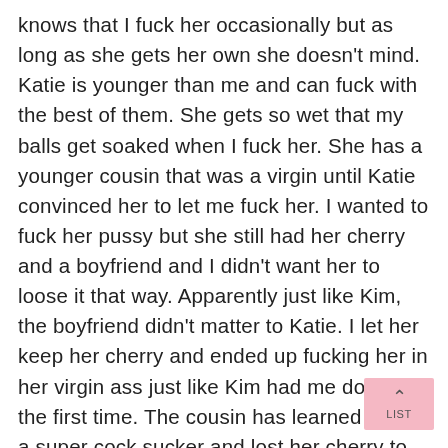knows that I fuck her occasionally but as long as she gets her own she doesn't mind. Katie is younger than me and can fuck with the best of them. She gets so wet that my balls get soaked when I fuck her. She has a younger cousin that was a virgin until Katie convinced her to let me fuck her. I wanted to fuck her pussy but she still had her cherry and a boyfriend and I didn't want her to loose it that way. Apparently just like Kim, the boyfriend didn't matter to Katie. I let her keep her cherry and ended up fucking her in her virgin ass just like Kim had me do to her the first time. The cousin has learned to be a super cock sucker and lost her cherry to her boyfriend. Katie taught her well.Kim and I are still married and happy. She doesn't deny being c and I wouldn't have it any other way. Sex is go